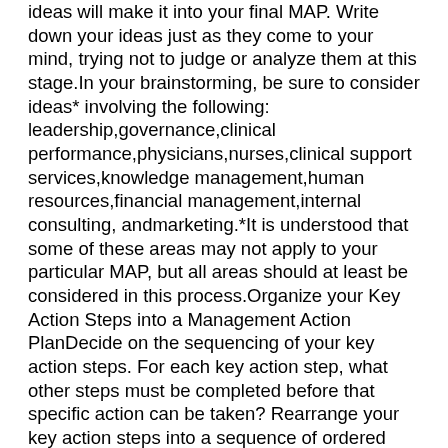ideas will make it into your final MAP. Write down your ideas just as they come to your mind, trying not to judge or analyze them at this stage.In your brainstorming, be sure to consider ideas* involving the following: leadership,governance,clinical performance,physicians,nurses,clinical support services,knowledge management,human resources,financial management,internal consulting, andmarketing.*It is understood that some of these areas may not apply to your particular MAP, but all areas should at least be considered in this process.Organize your Key Action Steps into a Management Action PlanDecide on the sequencing of your key action steps. For each key action step, what other steps must be completed before that specific action can be taken? Rearrange your key action steps into a sequence of ordered activity. Then, look at your plan once again. Are there any ways to simplify the plan further before presenting it?AccountabilityFor each key action step, assign a responsible party or group within